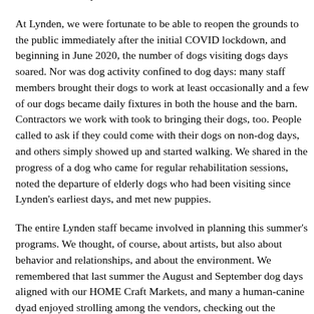of us survive the pandemic?
At Lynden, we were fortunate to be able to reopen the grounds to the public immediately after the initial COVID lockdown, and beginning in June 2020, the number of dogs visiting dogs days soared. Nor was dog activity confined to dog days: many staff members brought their dogs to work at least occasionally and a few of our dogs became daily fixtures in both the house and the barn. Contractors we work with took to bringing their dogs, too. People called to ask if they could come with their dogs on non-dog days, and others simply showed up and started walking. We shared in the progress of a dog who came for regular rehabilitation sessions, noted the departure of elderly dogs who had been visiting since Lynden's earliest days, and met new puppies.
The entire Lynden staff became involved in planning this summer's programs. We thought, of course, about artists, but also about behavior and relationships, and about the environment. We remembered that last summer the August and September dog days aligned with our HOME Craft Markets, and many a human-canine dyad enjoyed strolling among the vendors, checking out the merchandise and meeting new people.
Between May and September, we offer opportunities to enjoy a dog-led tour; to memorialize your dog in an archival-quality tintype or a Shrinky Dink charm; to ask and artist and trainer about human/non-human relationships; to meet a conservation dog; and to share two HOME Craft Days (we know from last summer that Floyd, one of the Lynden dogs, is partial to